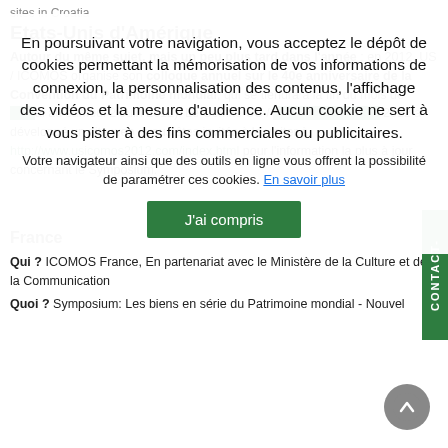sites in Croatia
Etats-Unis d'Amérique
Autour du même sujet, mais un peu plus tard dans l'année : en 2012, US / ICOMOS organise son colloque annuel sur le 40e anniversaire de la Convention du Patrimoine mondial, qui se tiendra à la fin du mois de (vendredi 31 mai au samedi 2 Juin 2012). Le Comité US / ICOMOS Symposium 2012 a développé un site web - vous êtes invités à le visiter à http://www.usicomos2012.com/index.html pour l'information la plus à jour concernant le Symposium.
En poursuivant votre navigation, vous acceptez le dépôt de cookies permettant la mémorisation de vos informations de connexion, la personnalisation des contenus, l'affichage des vidéos et la mesure d'audience. Aucun cookie ne sert à vous pister à des fins commerciales ou publicitaires.
Votre navigateur ainsi que des outils en ligne vous offrent la possibilité de paramétrer ces cookies. En savoir plus
J'ai compris
France
Qui ? ICOMOS France, En partenariat avec le Ministère de la Culture et de la Communication
Quoi ? Symposium: Les biens en série du Patrimoine mondial - Nouvel